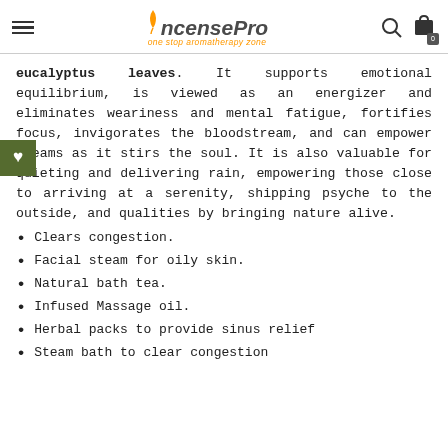Incense Pro — one stop aromatherapy zone
eucalyptus leaves. It supports emotional equilibrium, is viewed as an energizer and eliminates weariness and mental fatigue, fortifies focus, invigorates the bloodstream, and can empower dreams as it stirs the soul. It is also valuable for quieting and delivering rain, empowering those close to arriving at a serenity, shipping psyche to the outside, and qualities by bringing nature alive.
Clears congestion.
Facial steam for oily skin.
Natural bath tea.
Infused Massage oil.
Herbal packs to provide sinus relief
Steam bath to clear congestion